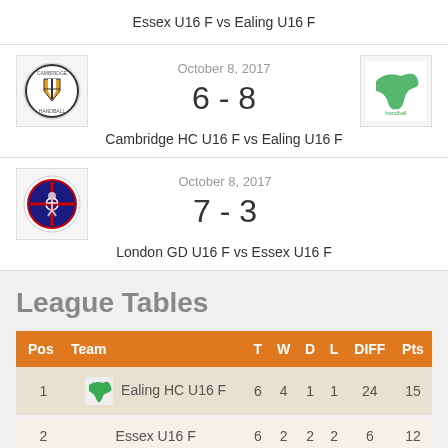Essex U16 F vs Ealing U16 F
October 8, 2017
6 - 8
Cambridge HC U16 F vs Ealing U16 F
October 8, 2017
7 - 3
London GD U16 F vs Essex U16 F
League Tables
| Pos | Team | T | W | D | L | DIFF | Pts |
| --- | --- | --- | --- | --- | --- | --- | --- |
| 1 | Ealing HC U16 F | 6 | 4 | 1 | 1 | 24 | 15 |
| 2 | Essex U16 F | 6 | 2 | 2 | 2 | 6 | 12 |
| 3 | London GD U16 F | 8 | 3 | 2 | 3 | 11 | 8 |